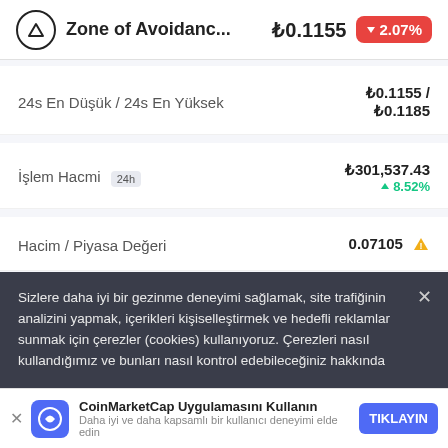Zone of Avoidanc... ₺0.1155 ▼2.07%
| Label | Value |
| --- | --- |
| 24s En Düşük / 24s En Yüksek | ₺0.1155 / ₺0.1185 |
| İşlem Hacmi 24h | ₺301,537.43 ▲8.52% |
| Hacim / Piyasa Değeri | 0.07105 ⚠ |
| Piyasa Hakimiyeti | 0.00% ⚠ |
| Piyasam Sıralaması | #4781 |
Sizlere daha iyi bir gezinme deneyimi sağlamak, site trafiğinin analizini yapmak, içerikleri kişiselleştirmek ve hedefli reklamlar sunmak için çerezler (cookies) kullanıyoruz. Çerezleri nasıl kullandığımız ve bunları nasıl kontrol edebileceğiniz hakkında
CoinMarketCap Uygulamasını Kullanın — Daha iyi ve daha kapsamlı bir kullanıcı deneyimi elde edin — TIKLAYIN